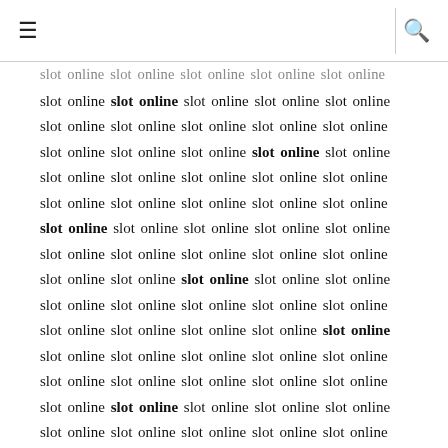≡  [search icon]
slot online slot online slot online slot online slot online slot online slot online slot online slot online slot online slot online slot online slot online slot online slot online slot online slot online slot online slot online slot online slot online slot online slot online slot online slot online slot online slot online slot online slot online slot online slot online slot online slot online slot online slot online slot online slot online slot online slot online slot online slot online slot online slot online slot online slot online slot online slot online slot online slot online slot online slot online slot online slot online slot online slot online slot online slot online slot online slot online slot online slot online slot online slot online slot online slot online slot online slot online slot online slot online slot online slot online slot online slot online slot online slot online slot online slot online slot online slot online slot online slot online slot online slot online slot online slot online slot online slot online slot online slot online slot online slot online slot online slot online slot online slot online slot online slot online slot online slot online slot online